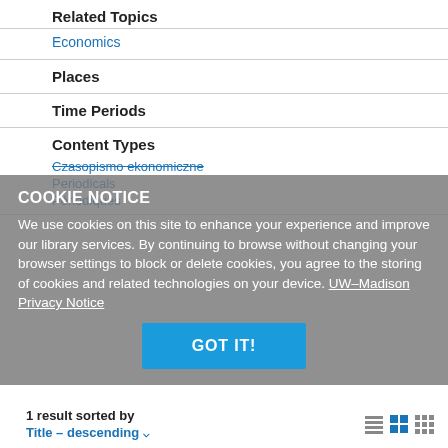Related Topics
Economics
Places
Time Periods
Content Types
Czasopismo ekonomiczne
Periodicals
Périodiques
COOKIE NOTICE
We use cookies on this site to enhance your experience and improve our library services. By continuing to browse without changing your browser settings to block or delete cookies, you agree to the storing of cookies and related technologies on your device. UW–Madison Privacy Notice
1 result sorted by
Title – descending